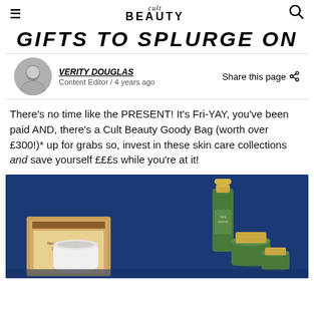cult BEAUTY
GIFTS TO SPLURGE ON
VERITY DOUGLAS
Content Editor / 4 years ago
Share this page
There's no time like the PRESENT! It's Fri-YAY, you've been paid AND, there's a Cult Beauty Goody Bag (worth over £300!)* up for grabs so, invest in these skin care collections and save yourself £££s while you're at it!
[Figure (photo): Beauty skincare product collection photo: Clarins Secrets de Beaute Cordiale gift set box on left, green and gold Tata Harper skincare bottles and jars on right, all set against a deep blue background.]